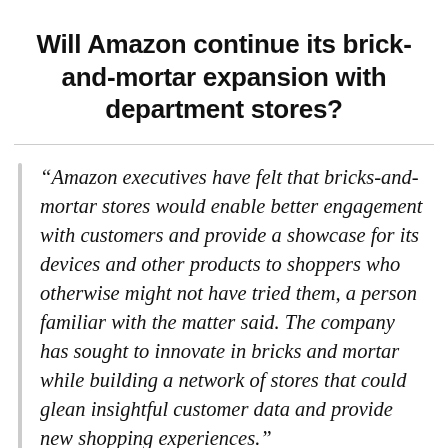Will Amazon continue its brick-and-mortar expansion with department stores?
“Amazon executives have felt that bricks-and-mortar stores would enable better engagement with customers and provide a showcase for its devices and other products to shoppers who otherwise might not have tried them, a person familiar with the matter said. The company has sought to innovate in bricks and mortar while building a network of stores that could glean insightful customer data and provide new shopping experiences.”